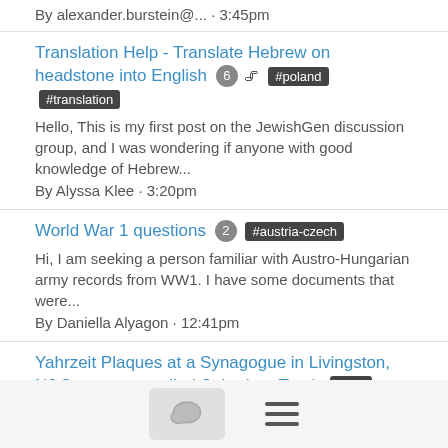By alexander.burstein@... · 3:45pm
Translation Help - Translate Hebrew on headstone into English [6] [attachment] #poland #translation
Hello, This is my first post on the JewishGen discussion group, and I was wondering if anyone with good knowledge of Hebrew...
By Alyssa Klee · 3:20pm
World War 1 questions [2] #austria-czech
Hi, I am seeking a person familiar with Austro-Hungarian army records from WW1. I have some documents that were...
By Daniella Alyagon · 12:41pm
Yahrzeit Plaques at a Synagogue in Livingston, NJ Synagogue called Suburban Torah #usa
Does anyone belong to Suburban Torah in Livingston, NJ ? I need your help . I need to get the photos of their Yahrzeit...
By Harold Kravis · 12:40pm
YOU ARE INVITED: Beginners' Roots Foundations...